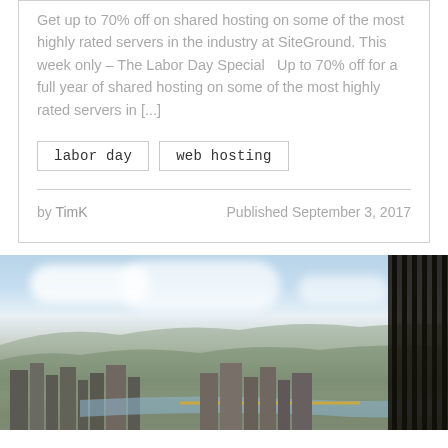Get up to 70% off on shared hosting on some of the most highly rated servers in the industry at SiteGround. This week only – The Labor Day Special  Up to 70% off for a full year of shared hosting on some of the most highly rated servers in [...]
labor day
web hosting
by TimK                    Published September 3, 2017
[Figure (photo): Aerial panoramic view of a city (Pittsburgh) with river, bridges, buildings, cloudy sky, and a metal fence railing visible on the right edge.]